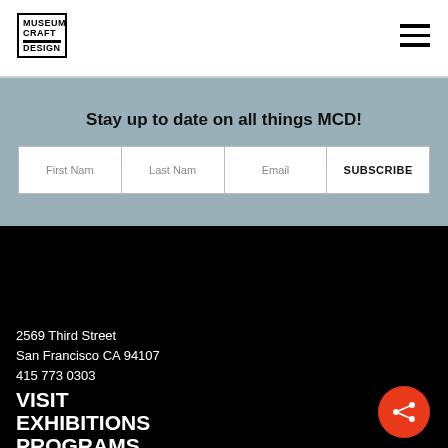MUSEUM CRAFT DESIGN
Stay up to date on all things MCD!
First Nam | Last Nam | Email | SUBSCRIBE
2569 Third Street
San Francisco CA 94107
415 773 0303
VISIT
EXHIBITIONS
PROGRAMS